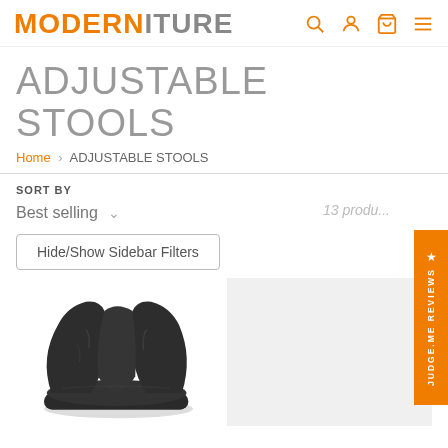MODERNITURE
ADJUSTABLE STOOLS
Home › ADJUSTABLE STOOLS
SORT BY
Best selling
13 produ...
Hide/Show Sidebar Filters
[Figure (photo): Black padded floor chair/adjustable stool product photo on white background]
[Figure (photo): Second product shown partially, light gray background]